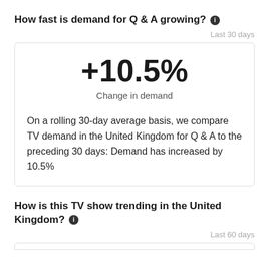How fast is demand for Q & A growing? ℹ
Last 30 days
+10.5%
Change in demand
On a rolling 30-day average basis, we compare TV demand in the United Kingdom for Q & A to the preceding 30 days: Demand has increased by 10.5%
How is this TV show trending in the United Kingdom? ℹ
Last 60 days